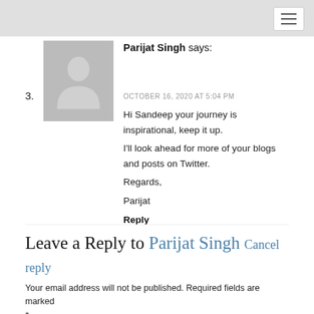[Figure (illustration): Hamburger menu icon button in top right corner]
3. Parijat Singh says:
[Figure (illustration): Grey avatar placeholder image showing a person silhouette]
OCTOBER 16, 2020 AT 5:04 PM
Hi Sandeep your journey is inspirational, keep it up.
I'll look ahead for more of your blogs and posts on Twitter.
Regards,
Parijat
Reply
Leave a Reply to Parijat Singh Cancel reply
Your email address will not be published. Required fields are marked *
Comment